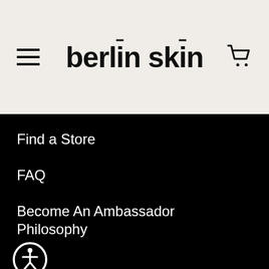berlin skin navigation header with hamburger menu and cart icon
berlin skīn
Find a Store
FAQ
Become An Ambassador
Accessibility
Philosophy
[Figure (illustration): Accessibility icon badge — circle with person/human figure silhouette]